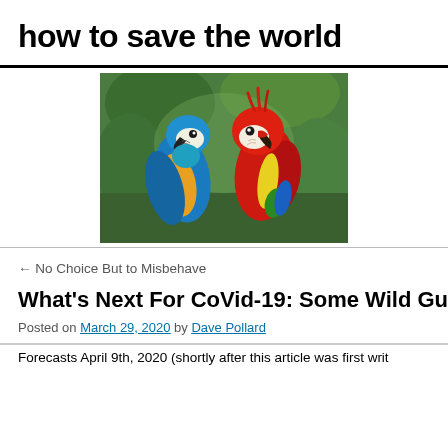how to save the world
[Figure (photo): Two macaw parrots side by side — a blue-and-yellow macaw on the left and a scarlet macaw on the right, with green foliage background.]
← No Choice But to Misbehave
What's Next For CoVid-19: Some Wild Gu
Posted on March 29, 2020 by Dave Pollard
Forecasts April 9th, 2020 (shortly after this article was first writ